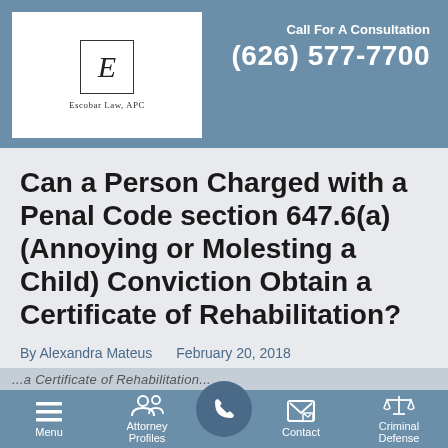Call For A Consultation (626) 577-7700
[Figure (logo): Escobar Law APC logo: letter E in a box with firm name below]
Can a Person Charged with a Penal Code section 647.6(a) (Annoying or Molesting a Child) Conviction Obtain a Certificate of Rehabilitation?
By Alexandra Mateus   February 20, 2018
...a Certificate of Rehabilitation...
Menu | Attorney Profiles | Contact | Criminal Defense